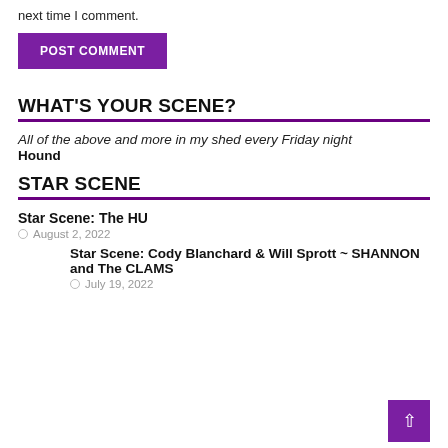next time I comment.
POST COMMENT
WHAT'S YOUR SCENE?
All of the above and more in my shed every Friday night
Hound
STAR SCENE
Star Scene: The HU
August 2, 2022
Star Scene: Cody Blanchard & Will Sprott ~ SHANNON and The CLAMS
July 19, 2022